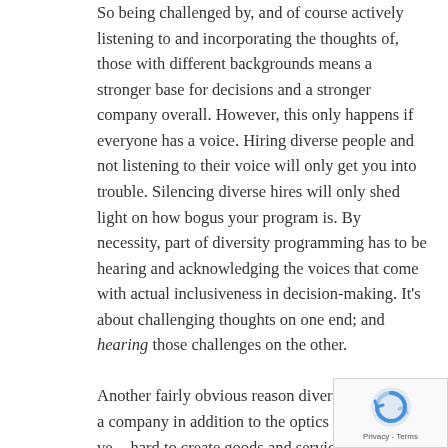So being challenged by, and of course actively listening to and incorporating the thoughts of, those with different backgrounds means a stronger base for decisions and a stronger company overall. However, this only happens if everyone has a voice. Hiring diverse people and not listening to their voice will only get you into trouble. Silencing diverse hires will only shed light on how bogus your program is. By necessity, part of diversity programming has to be hearing and acknowledging the voices that come with actual inclusiveness in decision-making. It's about challenging thoughts on one end; and hearing those challenges on the other.

Another fairly obvious reason diversity can help a company in addition to the optics is that it is very hard to create goods and services, as well as sell and market them, if the company does not reflect the people with varying self-expression all the
[Figure (other): reCAPTCHA badge with rotating arrow logo and 'Privacy - Terms' text]